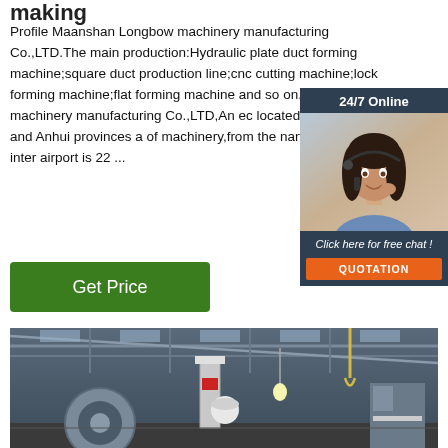making
Profile Maanshan Longbow machinery manufacturing Co.,LTD.The main production:Hydraulic plate duct forming machine;square duct production line;cnc cutting machine;lock forming machine;flat forming machine and so on.Maanshan Longbow machinery manufacturing Co.,LTD,An eco located in Jiangsu and Anhui provinces and of machinery,from the nanjing lukou international airport is 22 ...
[Figure (photo): Customer service representative with headset, 24/7 Online chat widget with dark blue background, showing 'Click here for free chat!' text and QUOTATION orange button]
[Figure (photo): Interior of a machinery manufacturing factory showing industrial equipment, cranes, and machinery on the factory floor]